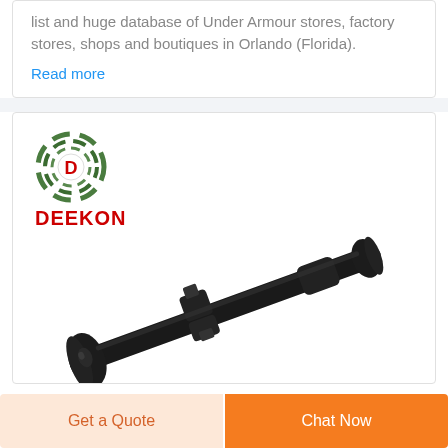list and huge database of Under Armour stores, factory stores, shops and boutiques in Orlando (Florida).
Read more
[Figure (logo): Deekon brand logo: circular bullseye target icon in green camouflage pattern with red D letter in center, red DEEKON text below]
[Figure (photo): Black rifle scope / telescopic sight on white background, angled diagonally from lower left to upper right]
Get a Quote
Chat Now